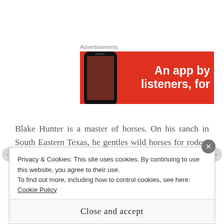Advertisements
[Figure (photo): Red advertisement banner showing a smartphone on the left and white bold text on the right reading 'An app by listeners, for']
Blake Hunter is a master of horses. On his ranch in South Eastern Texas, he gentles wild horses for rodeo, pleasure and ranch work. He also runs beef cattle.
Lexie Jamison is a thorn in his side. The gorgeous, dark
Privacy & Cookies: This site uses cookies. By continuing to use this website, you agree to their use.
To find out more, including how to control cookies, see here: Cookie Policy
Close and accept